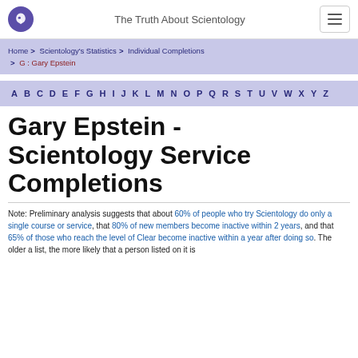The Truth About Scientology
Home > Scientology's Statistics > Individual Completions > G : Gary Epstein
A B C D E F G H I J K L M N O P Q R S T U V W X Y Z
Gary Epstein - Scientology Service Completions
Note: Preliminary analysis suggests that about 60% of people who try Scientology do only a single course or service, that 80% of new members become inactive within 2 years, and that 65% of those who reach the level of Clear become inactive within a year after doing so. The older a list, the more likely that a person listed on it is